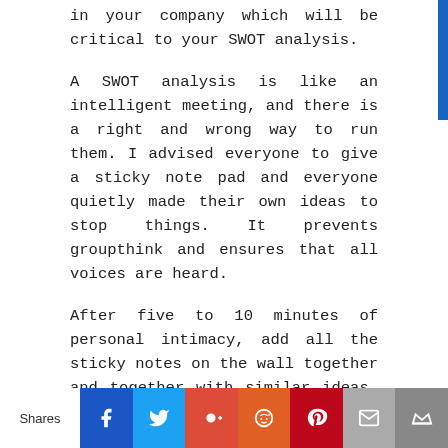in your company which will be critical to your SWOT analysis.
A SWOT analysis is like an intelligent meeting, and there is a right and wrong way to run them. I advised everyone to give a sticky note pad and everyone quietly made their own ideas to stop things. It prevents groupthink and ensures that all voices are heard.
After five to 10 minutes of personal intimacy, add all the sticky notes on the wall together and together with similar ideas. If the idea of another sparks new thinking, at this time someone will be allowed to add extra notes.
Once all the ideas are organized, it is time to
Shares  [Facebook] [Twitter] [Google+] [Reddit] [Pinterest] [Email] [Crown]